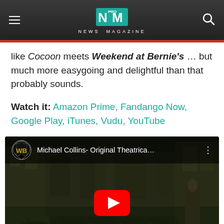NEWS MAGAZINE
like Cocoon meets Weekend at Bernie's … but much more easygoing and delightful than that probably sounds.
Watch it: Amazon Prime, Fandango Now, Google Play, iTunes, Vudu, YouTube
[Figure (screenshot): YouTube video embed showing Michael Collins - Original Theatrical Trailer with a Warner Bros. logo, crowd scene from the film, and a red YouTube play button overlay]